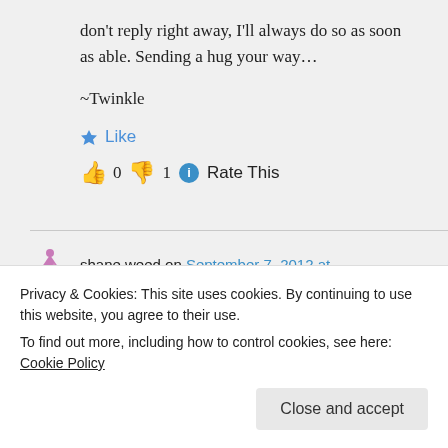don't reply right away, I'll always do so as soon as able. Sending a hug your way…
~Twinkle
★ Like
👍 0 👎 1 ℹ Rate This
shane weed on September 7, 2012 at
wrist at work and wan not until six
Privacy & Cookies: This site uses cookies. By continuing to use this website, you agree to their use.
To find out more, including how to control cookies, see here: Cookie Policy
Close and accept